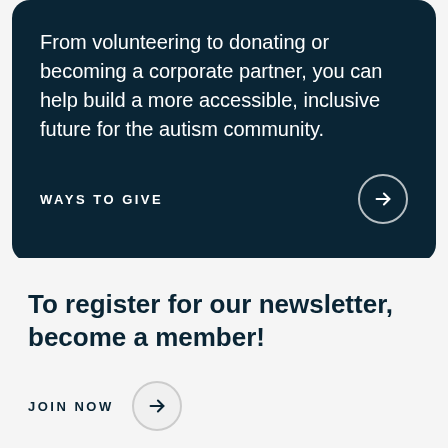From volunteering to donating or becoming a corporate partner, you can help build a more accessible, inclusive future for the autism community.
WAYS TO GIVE
To register for our newsletter, become a member!
JOIN NOW